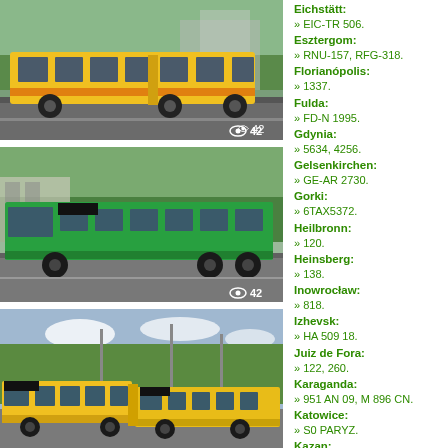[Figure (photo): Yellow and orange articulated bus on a city street, surrounded by trees and urban buildings. Eye icon with count 42.]
[Figure (photo): Green city bus (MAN type) driving on a road with trees in background. Eye icon with count 42.]
[Figure (photo): Yellow articulated buses at a bus station/depot with trees and sky in background.]
Eichstätt: » EIC-TR 506.
Esztergom: » RNU-157, RFG-318.
Florianópolis: » 1337.
Fulda: » FD-N 1995.
Gdynia: » 5634, 4256.
Gelsenkirchen: » GE-AR 2730.
Gorki: » 6TAX5372.
Heilbronn: » 120.
Heinsberg: » 138.
Inowrocław: » 818.
Izhevsk: » HA 509 18.
Juiz de Fora: » 122, 260.
Karaganda: » 951 AN 09, M 896 CN.
Katowice: » S0 PARYZ.
Kazan: » 02565, A 468 CX 716.